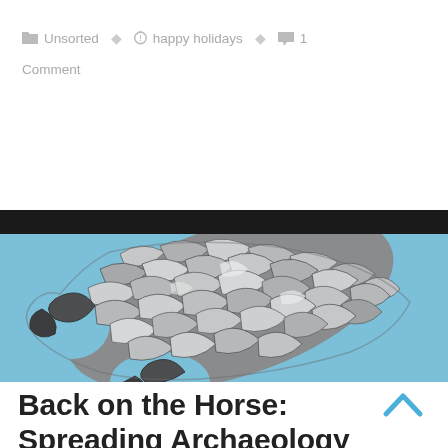📁 Unsorted   🏷 happy holidays   💬 1 Comment
[Figure (illustration): Close-up detailed illustration of a flint arrowhead or stone tool showing knapping marks and ridges, set against a light blue background. The stone tool shows dark grey and white tones with intricate flake scars and pressure-flaked edges.]
Back on the Horse: Spreading Archaeology in